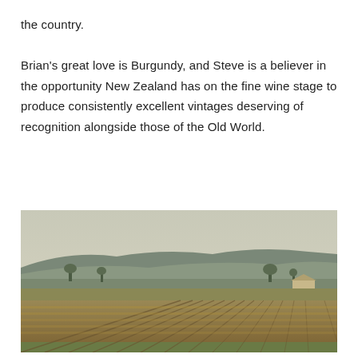the country.

Brian's great love is Burgundy, and Steve is a believer in the opportunity New Zealand has on the fine wine stage to produce consistently excellent vintages deserving of recognition alongside those of the Old World.
[Figure (photo): Aerial view of a vineyard with rows of vines in the foreground and hills in the background under a pale sky.]